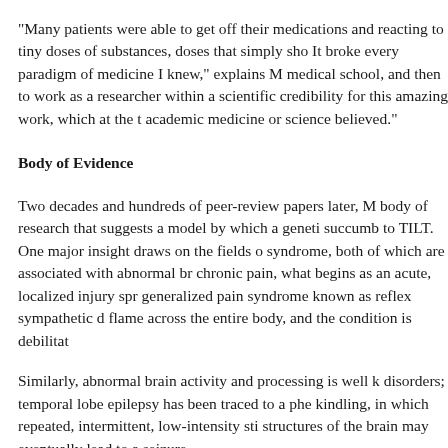“Many patients were able to get off their medications and reacting to tiny doses of substances, doses that simply sho It broke every paradigm of medicine I knew,” explains M medical school, and then to work as a researcher within a scientific credibility for this amazing work, which at the t academic medicine or science believed.”
Body of Evidence
Two decades and hundreds of peer-review papers later, M body of research that suggests a model by which a genetic succumb to TILT. One major insight draws on the fields o syndrome, both of which are associated with abnormal br chronic pain, what begins as an acute, localized injury spr generalized pain syndrome known as reflex sympathetic d flame across the entire body, and the condition is debilitat
Similarly, abnormal brain activity and processing is well k disorders; temporal lobe epilepsy has been traced to a phe kindling, in which repeated, intermittent, low-intensity sti structures of the brain may eventually lead to a seizure.